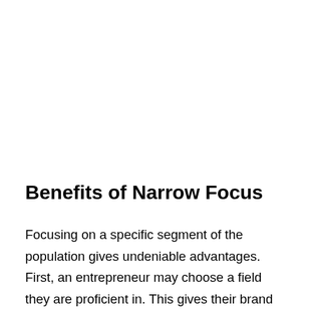Benefits of Narrow Focus
Focusing on a specific segment of the population gives undeniable advantages. First, an entrepreneur may choose a field they are proficient in. This gives their brand credibility. Secondly, a product or service tailored to a narrow audience stands out. Therefore, it may not be easily replaced by